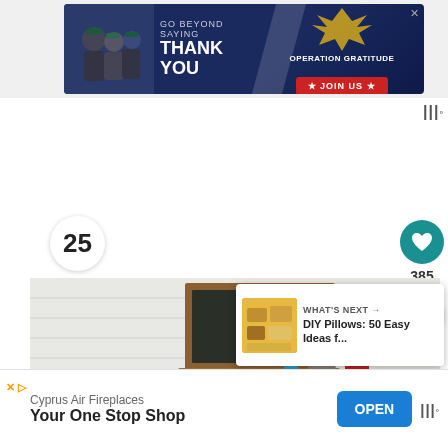[Figure (screenshot): Advertisement banner: GO BEYOND SAYING THANK YOU - Operation Gratitude, JOIN US]
[Figure (screenshot): What's Next overlay: DIY Pillows: 50 Easy Ideas f...]
[Figure (photo): DIY photo of a teal/green cubby shelf with wood top, chalkboard on white shiplap wall background, gumball machine and bucket on top]
25
385
WHAT'S NEXT → DIY Pillows: 50 Easy Ideas f...
Cyprus Air Fireplaces
Your One Stop Shop
OPEN